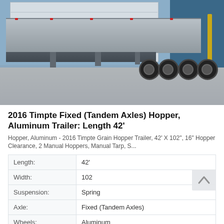[Figure (photo): Side view of a 2016 Timpte grain hopper aluminum trailer parked in front of a large building with blue walls and white/grey panel doors. The trailer is silver/aluminum with tandem axles visible. Yellow safety posts are visible on the right side.]
2016 Timpte Fixed (Tandem Axles) Hopper, Aluminum Trailer: Length 42'
Hopper, Aluminum - 2016 Timpte Grain Hopper Trailer, 42' X 102", 16" Hopper Clearance, 2 Manual Hoppers, Manual Tarp, S...
| Length: | 42' |
| Width: | 102 |
| Suspension: | Spring |
| Axle: | Fixed (Tandem Axles) |
| Wheels: | Aluminum |
$37900.00
Des Moines, IA